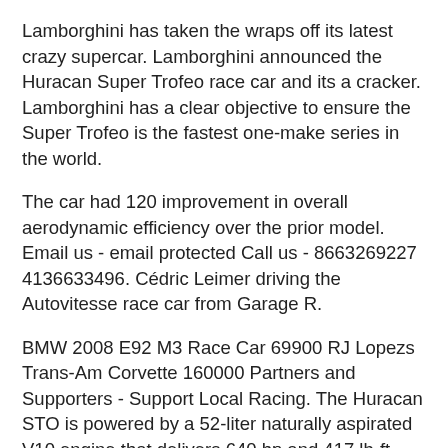Lamborghini has taken the wraps off its latest crazy supercar. Lamborghini announced the Huracan Super Trofeo race car and its a cracker. Lamborghini has a clear objective to ensure the Super Trofeo is the fastest one-make series in the world.
The car had 120 improvement in overall aerodynamic efficiency over the prior model. Email us - email protected Call us - 8663269227 4136633496. Cédric Leimer driving the Autovitesse race car from Garage R.
BMW 2008 E92 M3 Race Car 69900 RJ Lopezs Trans-Am Corvette 160000 Partners and Supporters - Support Local Racing. The Huracan STO is powered by a 52-liter naturally aspirated V10 engine that delivers 640 hp and 417 lb-ft 5600 rpm. The unprecedented body kit was developed by the engineers in Automobili Lamborghinis Motorsport department in partnership with Dallara Engineering and the Lamborghini.
Every year the drivers from all of the continental championships go to a different circuit and take part in two 50-minute Sprint races with the overall winner being crowned